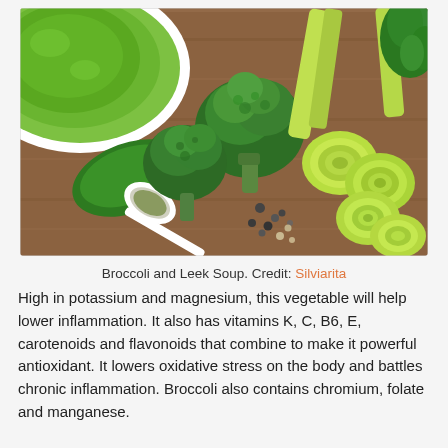[Figure (photo): Overhead photo of broccoli and leek soup ingredients on a wooden surface: a white bowl with green soup, broccoli florets, sliced leeks showing cross-sections, a white spoon with spices, spinach leaves, peppercorns, and fresh herbs (parsley).]
Broccoli and Leek Soup. Credit: Silviarita
High in potassium and magnesium, this vegetable will help lower inflammation. It also has vitamins K, C, B6, E, carotenoids and flavonoids that combine to make it powerful antioxidant. It lowers oxidative stress on the body and battles chronic inflammation. Broccoli also contains chromium, folate and manganese.